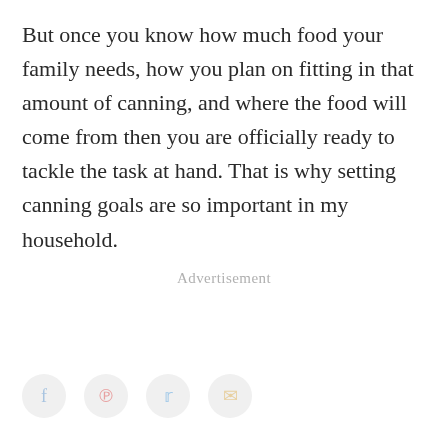But once you know how much food your family needs, how you plan on fitting in that amount of canning, and where the food will come from then you are officially ready to tackle the task at hand. That is why setting canning goals are so important in my household.
Advertisement